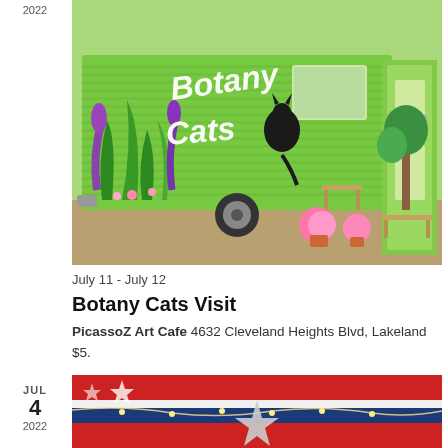2022
[Figure (photo): A bright green painted trailer/RV with 'Botany Cats' written in white script lettering, decorated with plant and cat silhouette artwork. Pink flowers and wooden furniture visible outside.]
July 11 - July 12
Botany Cats Visit
PicassoZ Art Cafe 4632 Cleveland Heights Blvd, Lakeland
$5.
JUL 4 2022
[Figure (photo): Partial view of a patriotic-themed image with red, white and blue colors, a metallic star decoration, and string lights visible in the background.]